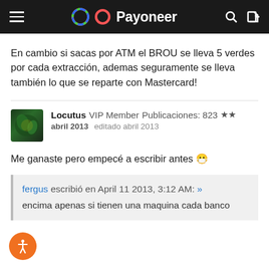Payoneer
En cambio si sacas por ATM el BROU se lleva 5 verdes por cada extracción, ademas seguramente se lleva también lo que se reparte con Mastercard!
Locutus  VIP Member  Publicaciones: 823  ★★
abril 2013  editado abril 2013
Me ganaste pero empecé a escribir antes 😬
fergus escribió en April 11 2013, 3:12 AM: »
encima apenas si tienen una maquina cada banco